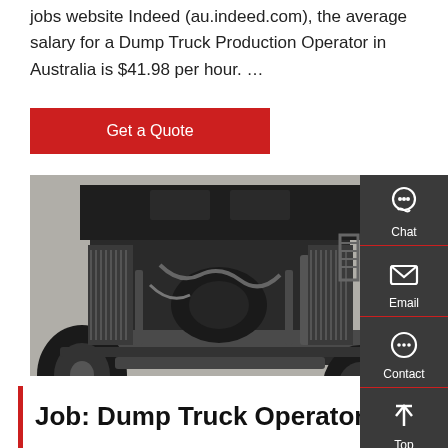jobs website Indeed (au.indeed.com), the average salary for a Dump Truck Production Operator in Australia is $41.98 per hour. …
Get a Quote
[Figure (photo): Underside view of a dump truck chassis showing axles, suspension, and mechanical components, photographed from below.]
Job: Dump Truck Operators at